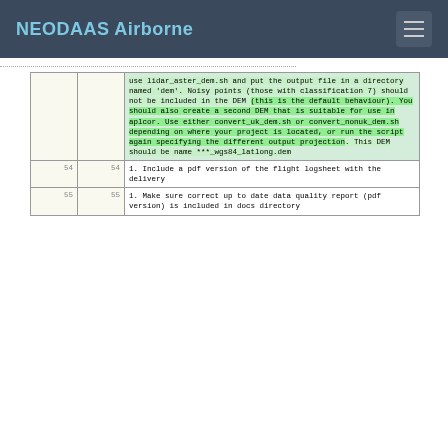NEODAAS Airborne
|  |  | use lidar_aster_dem.sh and put the output file in a directory named 'dem'. Noisy points (those with classification 7) should not be included in the DEM (this is the default behaviour). You should also create a second DEM that is suitable for use in aplcor. Use either convert_uk_dem.sh or convert_nonuk_dem.sh depending on where your project is located, or run the script again specifying the different output projection. This DEM should be name ***_wgs84_latlong.dem |
| 54 | 54 | 1. Include a pdf version of the flight logsheet with the delivery |
| 55 | 55 | 1. Make sure correct up to date data quality report (pdf version) is included in docs directory |